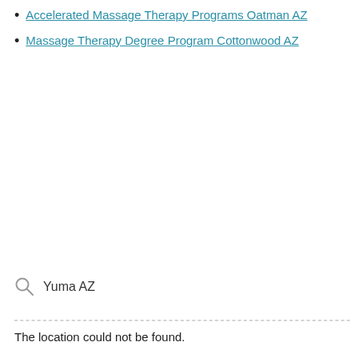Accelerated Massage Therapy Programs Oatman AZ
Massage Therapy Degree Program Cottonwood AZ
Yuma AZ
The location could not be found.